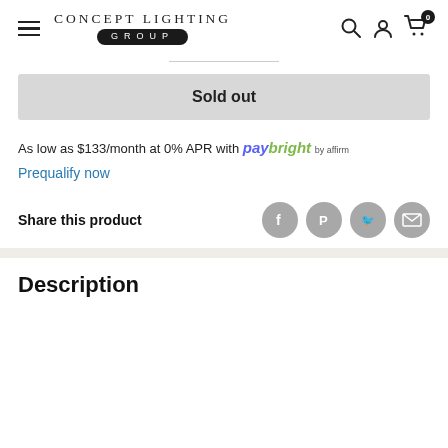[Figure (logo): Concept Lighting Group logo with hamburger menu, search, account, and cart icons]
Sold out
As low as $133/month at 0% APR with paybright by affirm
Prequalify now
Share this product
Description